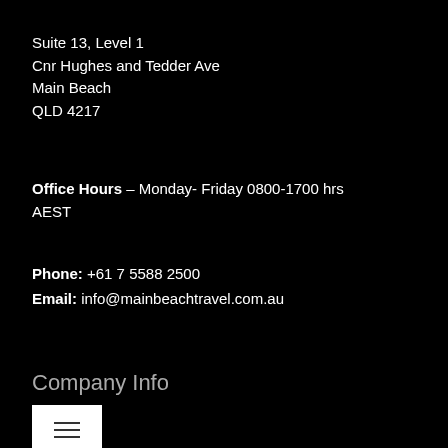Suite 13, Level 1
Cnr Hughes and Tedder Ave
Main Beach
QLD 4217
Office Hours – Monday- Friday 0800-1700 hrs AEST
Phone: +61 7 5588 2500
Email: info@mainbeachtravel.com.au
Company Info
[Figure (other): Menu/hamburger icon button — white square button with three horizontal lines icon]